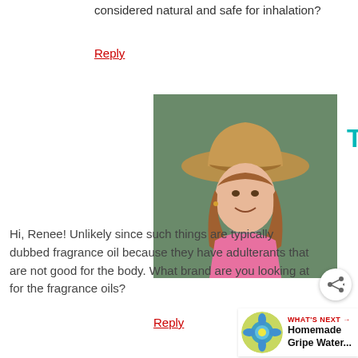considered natural and safe for inhalation?
Reply
[Figure (photo): Profile photo of TJ, a woman wearing a cowboy hat and pink top, smiling]
TJ says
Hi, Renee! Unlikely since such things are typically dubbed fragrance oil because they have adulterants that are not good for the body. What brand are you looking at for the fragrance oils?
Reply